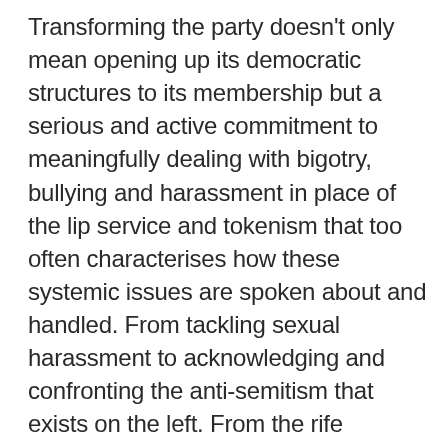Transforming the party doesn't only mean opening up its democratic structures to its membership but a serious and active commitment to meaningfully dealing with bigotry, bullying and harassment in place of the lip service and tokenism that too often characterises how these systemic issues are spoken about and handled. From tackling sexual harassment to acknowledging and confronting the anti-semitism that exists on the left. From the rife transphobia found in the Labour Party just as in wider society most recently evidenced by the treatment of Rochester and Strood CLP's Women's Officer Lily Madigan to unapologetically condemning the party for it's active or passive complacency in matters of state violence whether behind closed doors in detention centres like Yarls Wood or on our streets where racist stop and search still